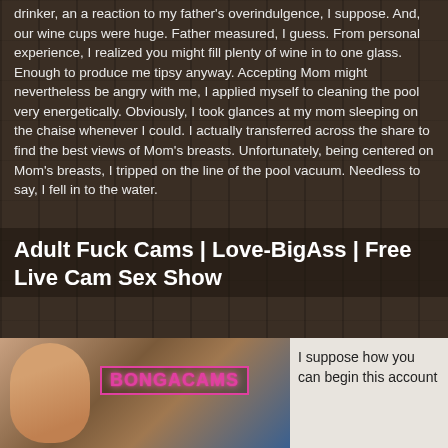drinker, an a reaction to my father's overindulgence, I suppose. And, our wine cups were huge. Father measured, I guess. From personal experience, I realized you might fill plenty of wine in to one glass. Enough to produce me tipsy anyway. Accepting Mom might nevertheless be angry with me, I applied myself to cleaning the pool very energetically. Obviously, I took glances at my mom sleeping on the chaise whenever I could. I actually transferred across the share to find the best views of Mom's breasts. Unfortunately, being centered on Mom's breasts, I tripped on the line of the pool vacuum. Needless to say, I fell in to the water.
Adult Fuck Cams | Love-BigAss | Free Live Cam Sex Show
[Figure (photo): Image showing a woman's face on the left with a BongaCams banner/logo in the center-right area, promotional webcam content]
I suppose how you can begin this account